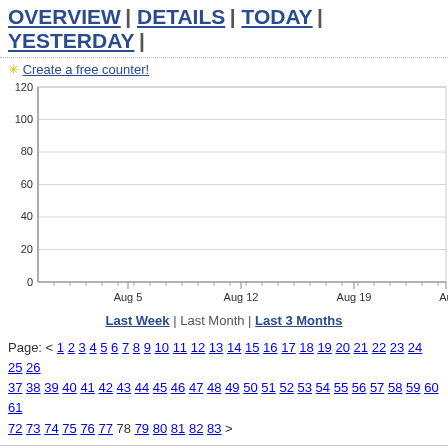OVERVIEW | DETAILS | TODAY | YESTERDAY |
✳ Create a free counter!
[Figure (line-chart): ]
Last Week | Last Month | Last 3 Months
Page: < 1 2 3 4 5 6 7 8 9 10 11 12 13 14 15 16 17 18 19 20 21 22 23 24 25 26 37 38 39 40 41 42 43 44 45 46 47 48 49 50 51 52 53 54 55 56 57 58 59 60 61 72 73 74 75 76 77 78 79 80 81 82 83 >
| Date | V |
| --- | --- |
| February 12, 2012 | 1 |
| February 11, 2012 | 1 |